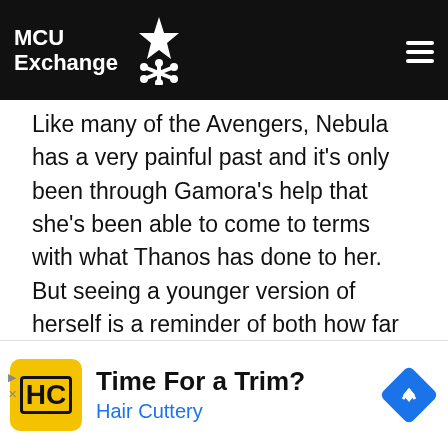MCU Exchange
Like many of the Avengers, Nebula has a very painful past and it's only been through Gamora's help that she's been able to come to terms with what Thanos has done to her. But seeing a younger version of herself is a reminder of both how far she's come and just how broken she used to be. 2014 Nebula is a coldblooded murderer who's blindly loyal to her abusive father. She has hurt both physically and mentally and been
[Figure (other): Advertisement: Time For a Trim? Hair Cuttery with yellow HC logo and blue diamond navigation icon]